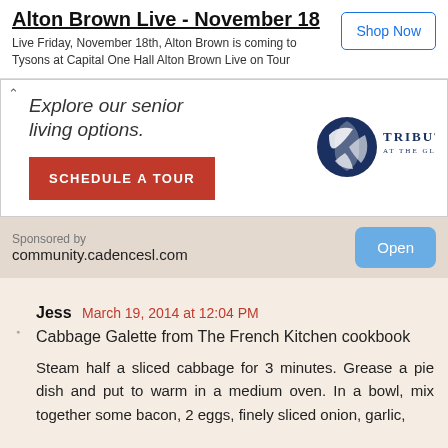Alton Brown Live - November 18
Live Friday, November 18th, Alton Brown is coming to Tysons at Capital One Hall Alton Brown Live on Tour
Shop Now
[Figure (infographic): Senior living advertisement for Tribute at the Glen with headline 'Explore our senior living options.' and a red Schedule a Tour button, plus the Tribute at the Glen logo.]
Sponsored by
community.cadencesl.com
Open
Jess March 19, 2014 at 12:04 PM
Cabbage Galette from The French Kitchen cookbook
Steam half a sliced cabbage for 3 minutes. Grease a pie dish and put to warm in a medium oven. In a bowl, mix together some bacon, 2 eggs, finely sliced onion, garlic,